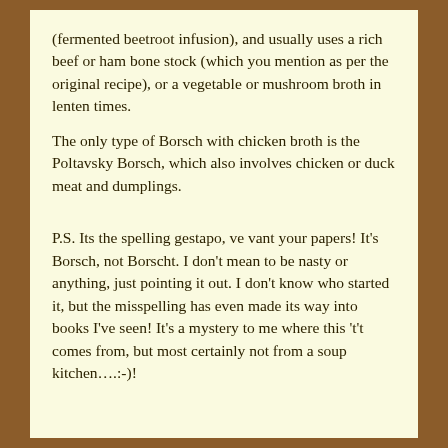(fermented beetroot infusion), and usually uses a rich beef or ham bone stock (which you mention as per the original recipe), or a vegetable or mushroom broth in lenten times.
The only type of Borsch with chicken broth is the Poltavsky Borsch, which also involves chicken or duck meat and dumplings.
P.S. Its the spelling gestapo, ve vant your papers! It's Borsch, not Borscht. I don't mean to be nasty or anything, just pointing it out. I don't know who started it, but the misspelling has even made its way into books I've seen! It's a mystery to me where this 't't comes from, but most certainly not from a soup kitchen….:-)!